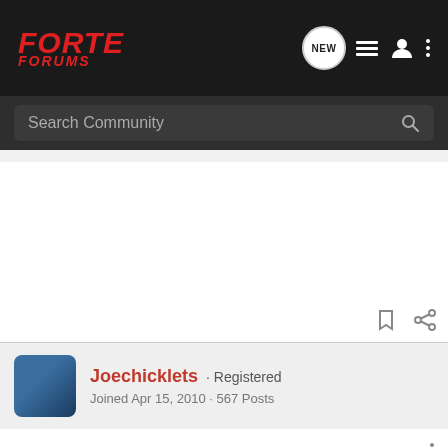[Figure (logo): Forte Forums logo in red italic text on dark background with navigation icons]
Search Community
Joechicklets · Registered
Joined Apr 15, 2010 · 567 Posts
#7 · Apr 25, 2011
Already a thread about this. using regular is just fine and dandy